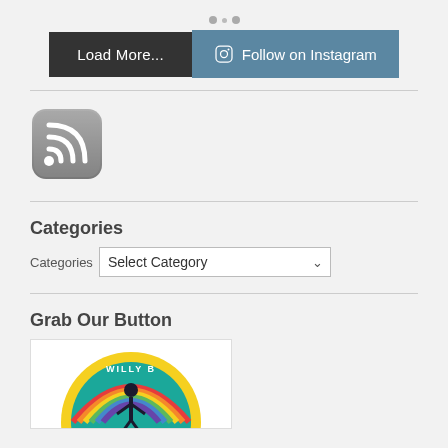[Figure (infographic): Loading spinner dots (two small grey circles)]
[Figure (other): Two buttons side by side: 'Load More...' (dark grey) and 'Follow on Instagram' (blue-grey with Instagram camera icon)]
[Figure (logo): RSS feed icon: rounded square grey badge with white RSS signal symbol]
Categories
Categories   Select Category
Grab Our Button
[Figure (logo): Willy B circular badge/logo with rainbow, person, teal background, and yellow serrated border]